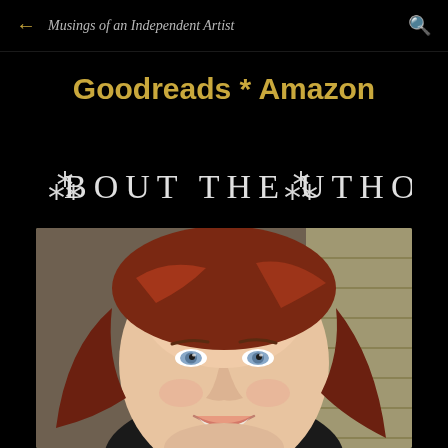← Musings of an Independent Artist 🔍
Goodreads * Amazon
About the Author
[Figure (photo): Headshot photo of a smiling woman with wavy auburn/red hair, light skin, blue eyes, wearing a dark top, photographed outdoors near a beige siding wall.]